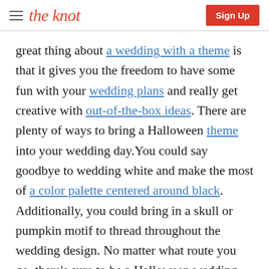the knot | Sign Up
great thing about a wedding with a theme is that it gives you the freedom to have some fun with your wedding plans and really get creative with out-of-the-box ideas. There are plenty of ways to bring a Halloween theme into your wedding day. You could say goodbye to wedding white and make the most of a color palette centered around black. Additionally, you could bring in a skull or pumpkin motif to thread throughout the wedding design. No matter what route you go, there’s sure to be a Halloween wedding idea below that deserves a spot in your ghoulish wedding plans.